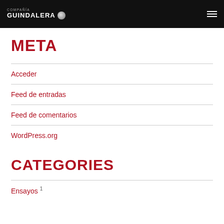COMPAÑÍA GUINDALERA
META
Acceder
Feed de entradas
Feed de comentarios
WordPress.org
CATEGORIES
Ensayos 1